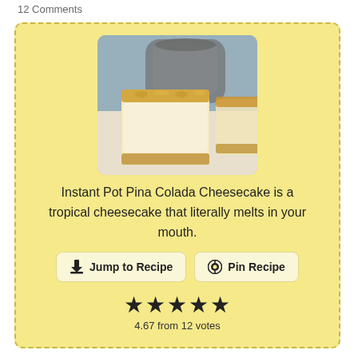12 Comments
[Figure (photo): Close-up photo of a slice of Instant Pot Pina Colada Cheesecake with toasted coconut topping, with an Instant Pot visible in the background.]
Instant Pot Pina Colada Cheesecake is a tropical cheesecake that literally melts in your mouth.
Jump to Recipe
Pin Recipe
★★★★★
4.67 from 12 votes